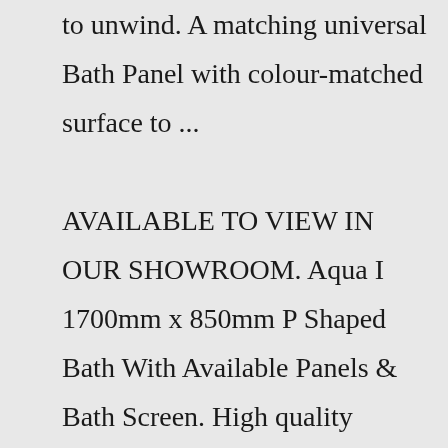to unwind. A matching universal Bath Panel with colour-matched surface to ... AVAILABLE TO VIEW IN OUR SHOWROOM. Aqua I 1700mm x 850mm P Shaped Bath With Available Panels & Bath Screen. High quality acrylic surface. Fully reinforced with fibreglass with encapsulated baseboard. Available as a right or left hand option. Front Panel included with optional End bath panel available. The P Shaped